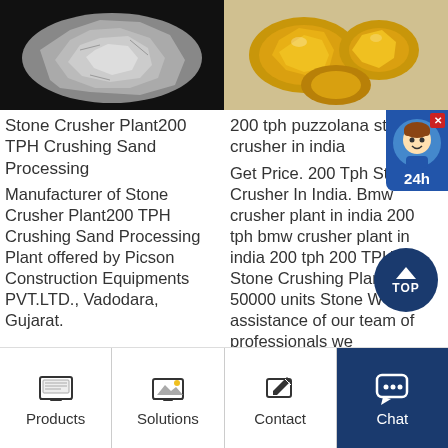[Figure (photo): Silver/grey ore or mineral rock on black background]
[Figure (photo): Gold nuggets on light background]
Stone Crusher Plant200 TPH Crushing Sand Processing
200 tph puzzolana stone crusher in india
Manufacturer of Stone Crusher Plant200 TPH Crushing Sand Processing Plant offered by Picson Construction Equipments PVT.LTD., Vadodara, Gujarat.
Get Price. 200 Tph Stone Crusher In India. Bmw crusher plant in india 200 tph bmw crusher plant in india 200 tph 200 TPH Stone Crushing Plant at Rs 50000 units Stone With assistance of our team of professionals we manufacture and supply a
Products | Solutions | Contact | Chat